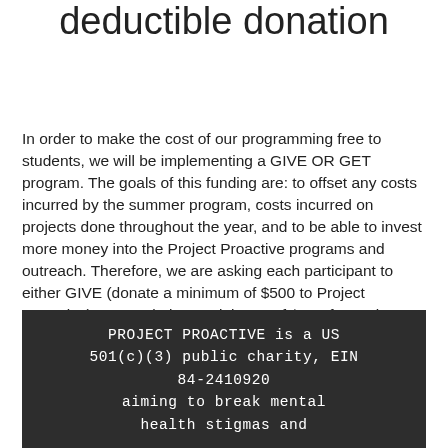deductible donation
In order to make the cost of our programming free to students, we will be implementing a GIVE OR GET program. The goals of this funding are: to offset any costs incurred by the summer program, costs incurred on projects done throughout the year, and to be able to invest more money into the Project Proactive programs and outreach. Therefore, we are asking each participant to either GIVE (donate a minimum of $500 to Project Proactive) or GET (raise a minimum of $500 for Project Proactive).
PROJECT PROACTIVE is a US 501(c)(3) public charity, EIN 84-2410920 aiming to break mental health stigmas and